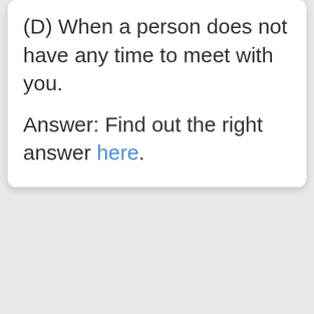(D) When a person does not have any time to meet with you.
Answer: Find out the right answer here.